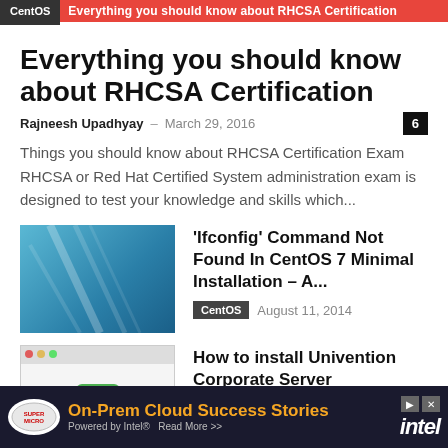CentOS  Everything you should know about RHCSA Certification
Everything you should know about RHCSA Certification
Rajneesh Upadhyay  –  March 29, 2016  6
Things you should know about RHCSA Certification Exam RHCSA or Red Hat Certified System administration exam is designed to test your knowledge and skills which...
[Figure (photo): Blue abstract background with diagonal light streaks]
'Ifconfig' Command Not Found In CentOS 7 Minimal Installation – A...  CentOS  August 11, 2014
[Figure (screenshot): Screenshot of Univention Corporate Server installation interface with green icon]
How to install Univention Corporate Server  Linux tutorials  December 25, 2015
[Figure (photo): Purple/pink gradient background (partially visible)]
Top Things To Do After Installing Ubuntu
[Figure (infographic): Advertisement banner: Supermicro - On-Prem Cloud Success Stories - Powered by Intel - Read More >> - Intel logo]